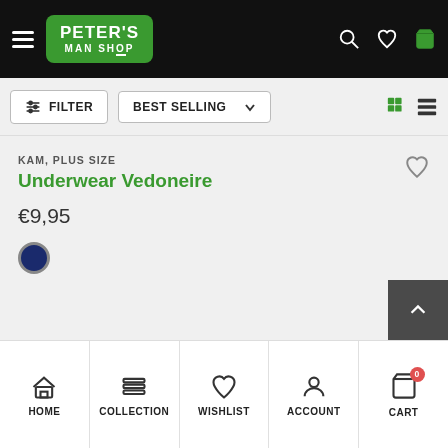[Figure (screenshot): Peter's Man Shop header with hamburger menu, green logo, search, wishlist, and bag icons on black background]
FILTER
BEST SELLING
KAM, PLUS SIZE
Underwear Vedoneire
€9,95
HOME | COLLECTION | WISHLIST | ACCOUNT | CART